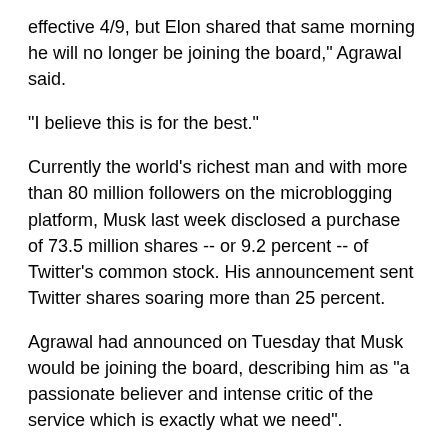effective 4/9, but Elon shared that same morning he will no longer be joining the board," Agrawal said.
"I believe this is for the best."
Currently the world's richest man and with more than 80 million followers on the microblogging platform, Musk last week disclosed a purchase of 73.5 million shares -- or 9.2 percent -- of Twitter's common stock. His announcement sent Twitter shares soaring more than 25 percent.
Agrawal had announced on Tuesday that Musk would be joining the board, describing him as "a passionate believer and intense critic of the service which is exactly what we need".
Musk himself tweeted that he was "Looking forward to working with Parag & Twitter board to make significant improvements to Twitter in coming months!"
In his announcement Sunday, Agrawal shared a note he sent to Twitter which said Musk has a intent to the...